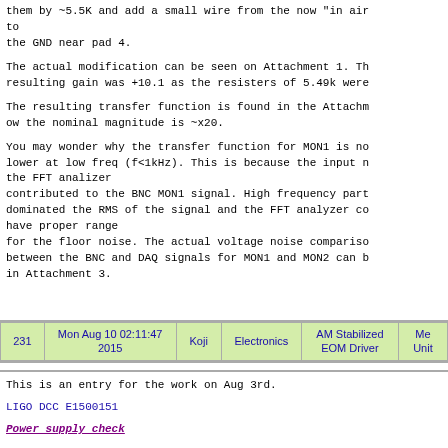them by ~5.5K and add a small wire from the now "in air" to the GND near pad 4.

The actual modification can be seen on Attachment 1. The resulting gain was +10.1 as the resisters of 5.49k were...

The resulting transfer function is found in the Attachment... ow the nominal magnitude is ~x20.

You may wonder why the transfer function for MON1 is no lower at low freq (f<1kHz). This is because the input n the FFT analizer contributed to the BNC MON1 signal. High frequency part dominated the RMS of the signal and the FFT analyzer co have proper range for the floor noise. The actual voltage noise compariso between the BNC and DAQ signals for MON1 and MON2 can b in Attachment 3.
| 231 | Mon Aug 10 02:11:47 2015 | Koji | Electronics | AM Stabilized EOM Driver | Me Unit |
| --- | --- | --- | --- | --- | --- |
This is an entry for the work on Aug 3rd.
LIGO DCC E1500151
Power supply check